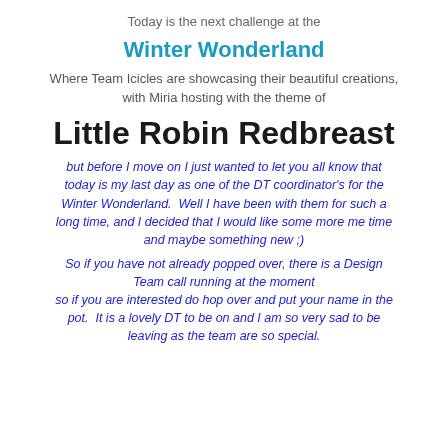Today is the next challenge at the
Winter Wonderland
Where Team Icicles are showcasing their beautiful creations, with Miria hosting with the theme of
Little Robin Redbreast
but before I move on I just wanted to let you all know that today is my last day as one of the DT coordinator's for the Winter Wonderland.  Well I have been with them for such a long time, and I decided that I would like some more me time and maybe something new ;)
So if you have not already popped over, there is a Design Team call running at the moment so if you are interested do hop over and put your name in the pot.  It is a lovely DT to be on and I am so very sad to be leaving as the team are so special.